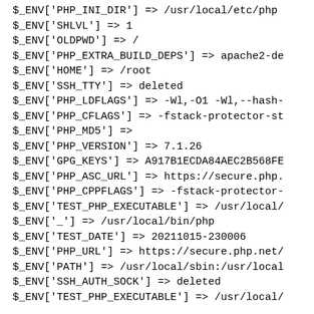$_ENV['PHP_INI_DIR'] => /usr/local/etc/php (truncated)
$_ENV['SHLVL'] => 1
$_ENV['OLDPWD'] => /
$_ENV['PHP_EXTRA_BUILD_DEPS'] => apache2-de (truncated)
$_ENV['HOME'] => /root
$_ENV['SSH_TTY'] => deleted
$_ENV['PHP_LDFLAGS'] => -Wl,-O1 -Wl,--hash- (truncated)
$_ENV['PHP_CFLAGS'] => -fstack-protector-st (truncated)
$_ENV['PHP_MD5'] =>
$_ENV['PHP_VERSION'] => 7.1.26
$_ENV['GPG_KEYS'] => A917B1ECDA84AEC2B568FE (truncated)
$_ENV['PHP_ASC_URL'] => https://secure.php. (truncated)
$_ENV['PHP_CPPFLAGS'] => -fstack-protector- (truncated)
$_ENV['TEST_PHP_EXECUTABLE'] => /usr/local/ (truncated)
$_ENV['_'] => /usr/local/bin/php
$_ENV['TEST_DATE'] => 20211015-230006
$_ENV['PHP_URL'] => https://secure.php.net/ (truncated)
$_ENV['PATH'] => /usr/local/sbin:/usr/local (truncated)
$_ENV['SSH_AUTH_SOCK'] => deleted
$_ENV['TEST_PHP_EXECUTABLE'] => /usr/local/ (truncated, bottom cut off)